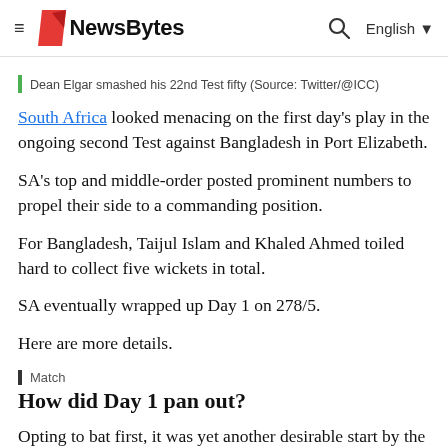NewsBytes  English
Dean Elgar smashed his 22nd Test fifty (Source: Twitter/@ICC)
South Africa looked menacing on the first day's play in the ongoing second Test against Bangladesh in Port Elizabeth.
SA's top and middle-order posted prominent numbers to propel their side to a commanding position.
For Bangladesh, Taijul Islam and Khaled Ahmed toiled hard to collect five wickets in total.
SA eventually wrapped up Day 1 on 278/5.
Here are more details.
Match
How did Day 1 pan out?
Opting to bat first, it was yet another desirable start by the hosts.